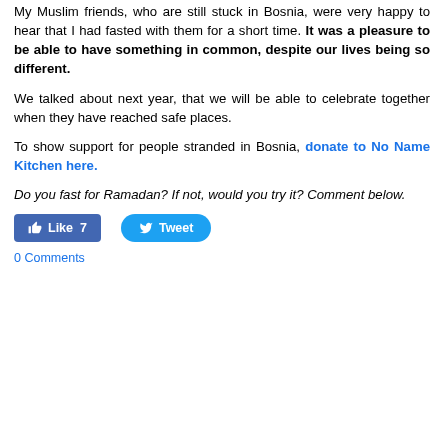My Muslim friends, who are still stuck in Bosnia, were very happy to hear that I had fasted with them for a short time. It was a pleasure to be able to have something in common, despite our lives being so different.
We talked about next year, that we will be able to celebrate together when they have reached safe places.
To show support for people stranded in Bosnia, donate to No Name Kitchen here.
Do you fast for Ramadan? If not, would you try it? Comment below.
[Figure (other): Social media buttons: Facebook Like button showing 7 likes, and Twitter Tweet button]
0 Comments